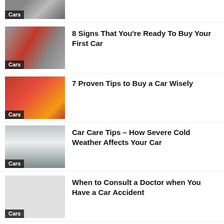[Figure (photo): Partial thumbnail of a car-related article with Cars tag at bottom left]
[Figure (photo): Woman hugging a car at a dealership with Cars tag]
8 Signs That You’re Ready To Buy Your First Car
[Figure (photo): Woman hugging a red car with Cars tag]
7 Proven Tips to Buy a Car Wisely
[Figure (photo): Person in snow with car in winter with Cars tag]
Car Care Tips – How Severe Cold Weather Affects Your Car
[Figure (photo): No visible image, only Cars tag at bottom left]
When to Consult a Doctor when You Have a Car Accident
Useful Tips for Driving in a Snowstorm